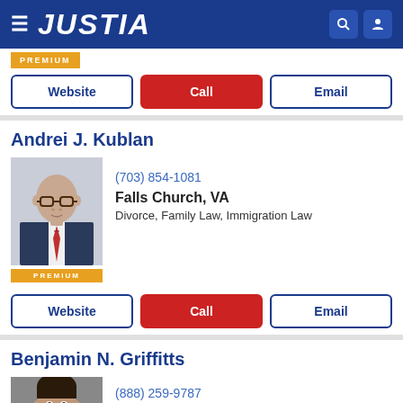JUSTIA
[Figure (logo): Justia website header with hamburger menu, JUSTIA logo, search and user icons on dark blue background]
[Figure (other): Gold PREMIUM badge]
Website | Call | Email
Andrei J. Kublan
[Figure (photo): Professional headshot of Andrei J. Kublan, a bald man wearing glasses and a suit with tie]
(703) 854-1081
Falls Church, VA
Divorce, Family Law, Immigration Law
Website | Call | Email
Benjamin N. Griffitts
[Figure (photo): Professional headshot of Benjamin N. Griffitts, a man with dark hair smiling]
(888) 259-9787
Fairfax, VA